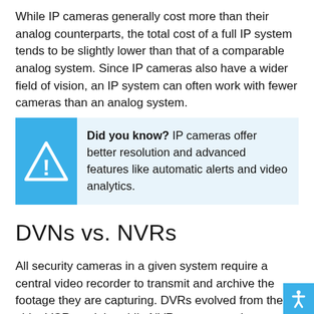While IP cameras generally cost more than their analog counterparts, the total cost of a full IP system tends to be slightly lower than that of a comparable analog system. Since IP cameras also have a wider field of vision, an IP system can often work with fewer cameras than an analog system.
Did you know? IP cameras offer better resolution and advanced features like automatic alerts and video analytics.
DVNs vs. NVRs
All security cameras in a given system require a central video recorder to transmit and archive the footage they are capturing. DVRs evolved from the older VCR models, while NVRs represent the next step in the evolution of video recording technology.